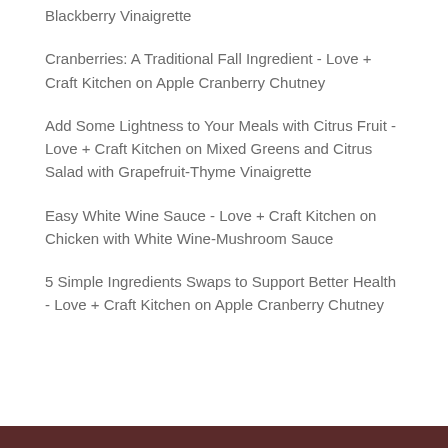Blackberry Vinaigrette
Cranberries: A Traditional Fall Ingredient - Love + Craft Kitchen on Apple Cranberry Chutney
Add Some Lightness to Your Meals with Citrus Fruit - Love + Craft Kitchen on Mixed Greens and Citrus Salad with Grapefruit-Thyme Vinaigrette
Easy White Wine Sauce - Love + Craft Kitchen on Chicken with White Wine-Mushroom Sauce
5 Simple Ingredients Swaps to Support Better Health - Love + Craft Kitchen on Apple Cranberry Chutney